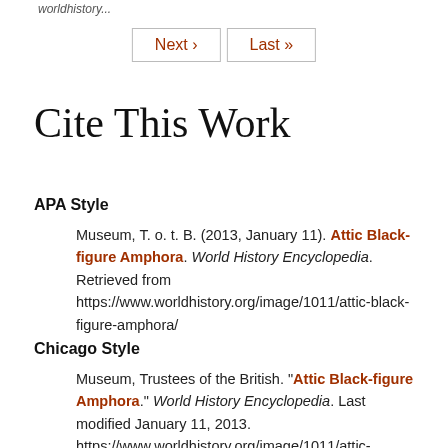worldhistory...
Next › Last »
Cite This Work
APA Style
Museum, T. o. t. B. (2013, January 11). Attic Black-figure Amphora. World History Encyclopedia. Retrieved from https://www.worldhistory.org/image/1011/attic-black-figure-amphora/
Chicago Style
Museum, Trustees of the British. "Attic Black-figure Amphora." World History Encyclopedia. Last modified January 11, 2013. https://www.worldhistory.org/image/1011/attic-